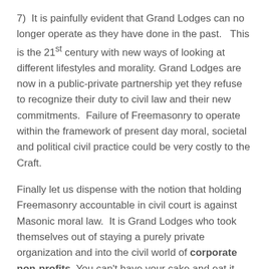7)  It is painfully evident that Grand Lodges can no longer operate as they have done in the past.   This is the 21st century with new ways of looking at different lifestyles and morality. Grand Lodges are now in a public-private partnership yet they refuse to recognize their duty to civil law and their new commitments.  Failure of Freemasonry to operate within the framework of present day moral, societal and political civil practice could be very costly to the Craft.
Finally let us dispense with the notion that holding Freemasonry accountable in civil court is against Masonic moral law.  It is Grand Lodges who took themselves out of staying a purely private organization and into the civil world of corporate non-profits. You can't have your cake and eat it too.